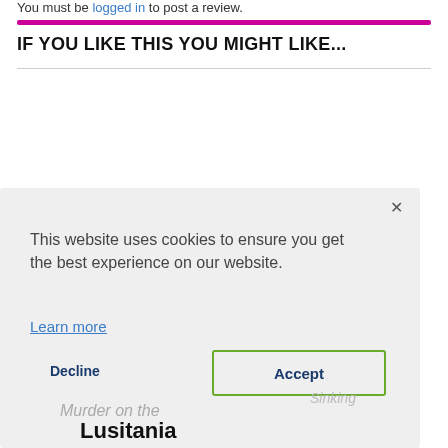You must be logged in to post a review.
IF YOU LIKE THIS YOU MIGHT LIKE...
This website uses cookies to ensure you get the best experience on our website.
Learn more
Decline
Accept
Murder on the
Lusitania